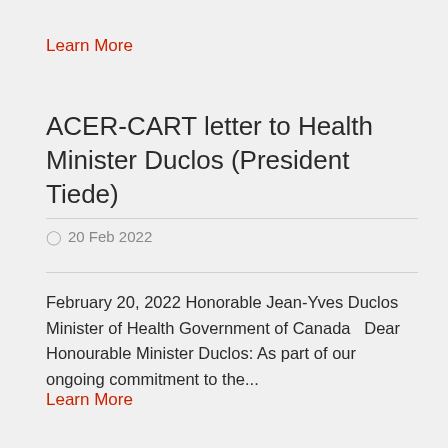Learn More
ACER-CART letter to Health Minister Duclos (President Tiede)
20 Feb 2022
February 20, 2022 Honorable Jean-Yves Duclos Minister of Health Government of Canada   Dear Honourable Minister Duclos: As part of our ongoing commitment to the...
Learn More